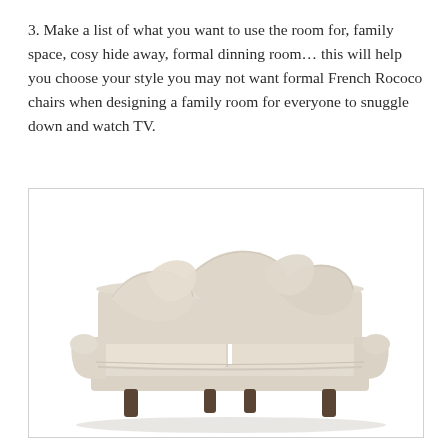3. Make a list of what you want to use the room for, family space, cosy hide away, formal dinning room… this will help you choose your style you may not want formal French Rococo chairs when designing a family room for everyone to snuggle down and watch TV.
[Figure (photo): A large cream/beige upholstered three-seater sofa with rolled arms and multiple scatter cushions, on dark wooden legs, photographed against a white background.]